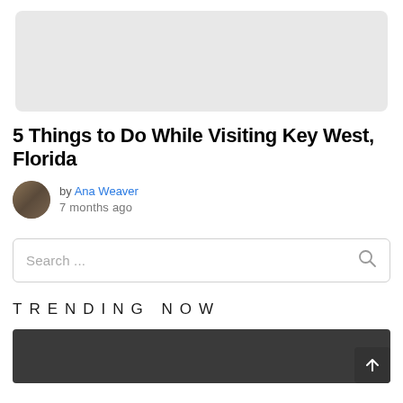[Figure (photo): Light grey rectangular placeholder image at top of page]
5 Things to Do While Visiting Key West, Florida
by Ana Weaver
7 months ago
Search ...
TRENDING NOW
[Figure (photo): Dark grey/black trending image section at bottom, partially cut off, with back-to-top arrow button in bottom right corner]